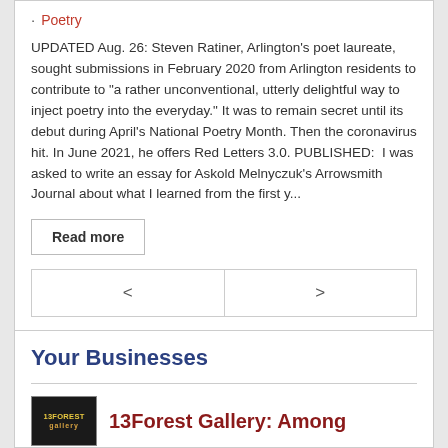Poetry
UPDATED Aug. 26: Steven Ratiner, Arlington's poet laureate, sought submissions in February 2020 from Arlington residents to contribute to "a rather unconventional, utterly delightful way to inject poetry into the everyday." It was to remain secret until its debut during April's National Poetry Month. Then the coronavirus hit. In June 2021, he offers Red Letters 3.0. PUBLISHED:  I was asked to write an essay for Askold Melnyczuk's Arrowsmith Journal about what I learned from the first y...
Read more
Your Businesses
13Forest Gallery: Among